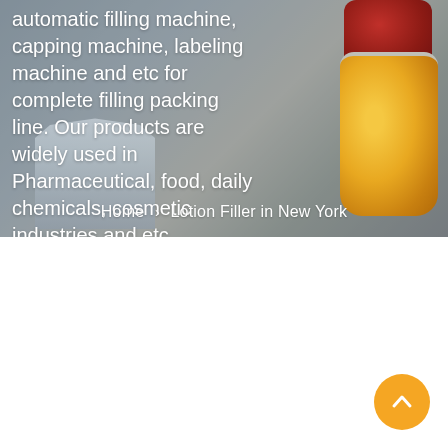[Figure (photo): Hero banner showing industrial filling/packaging machine on the left and a glass jar with golden/yellow contents and a dark red lid on the right, against a grey background.]
automatic filling machine, capping machine, labeling machine and etc for complete filling packing line. Our products are widely used in Pharmaceutical, food, daily chemicals, cosmetic industries and etc.
Home > Lotion Filler in New York